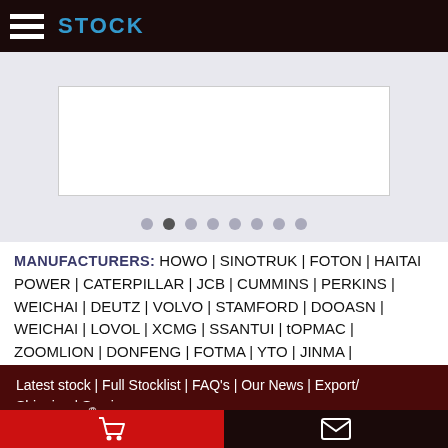STOCK
[Figure (screenshot): Carousel/slider image area with white rectangle placeholder, navigation dots below]
MANUFACTURERS: HOWO | SINOTRUK | FOTON | HAITAI POWER | CATERPILLAR | JCB | CUMMINS | PERKINS | WEICHAI | DEUTZ | VOLVO | STAMFORD | DOOASN | WEICHAI | LOVOL | XCMG | SSANTUI | tOPMAC | ZOOMLION | DONFENG | FOTMA | YTO | JINMA | sitemap.xml for Google | Panorama photos created by wirestock - www.freepik.com
Latest stock | Full Stocklist | FAQ's | Our News | Export/Shipping | Service
Copyright © ® 2003 - 2022 MACHINERY & EQUIPMENT DISPOSAL S All rights reserved | Security Policy | Website